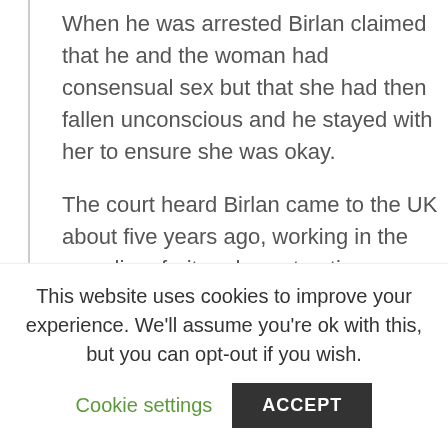When he was arrested Birlan claimed that he and the woman had consensual sex but that she had then fallen unconscious and he stayed with her to ensure she was okay.
The court heard Birlan came to the UK about five years ago, working in the recycling, fruit and construction industries, and has no previous convictions.
He pleaded guilty at Maidstone Crown Court and was yesterday sentenced to life in prison, with a minimum of eight years and three months before he
This website uses cookies to improve your experience. We'll assume you're ok with this, but you can opt-out if you wish.